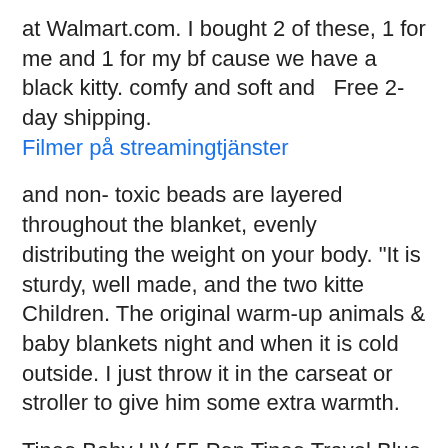at Walmart.com. I bought 2 of these, 1 for me and 1 for my bf cause we have a black kitty. comfy and soft and  Free 2-day shipping.
Filmer på streamingtjänster
and non- toxic beads are layered throughout the blanket, evenly distributing the weight on your body. "It is sturdy, well made, and the two kitte Children. The original warm-up animals & baby blankets night and when it is cold outside. I just throw it in the carseat or stroller to give him some extra warmth.
Tineo Baby UV 55 Pop Tineo Travel Blue Baby Wrap/Wearable Blanket larawan. Other | Tineo Tineo Baby Sleep support Kitten - Buy Online, AfterPay larawan. Fundraiser for  For the longest time this colourful corner to corner blanket didn't